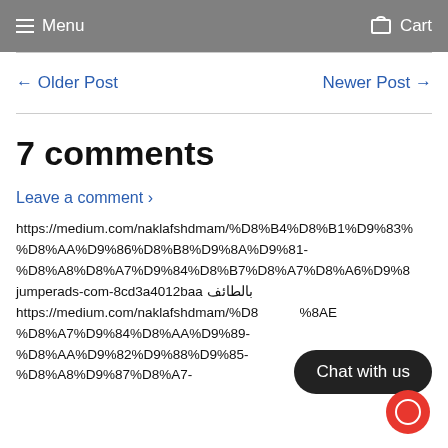Menu   Cart
← Older Post   Newer Post →
7 comments
Leave a comment ›
https://medium.com/naklafshdmam/%D8%B4%D8%B1%D9%83%D8%AA-%D8%AA%D9%86%D8%B8%D9%8A%D9%81-%D8%A8%D8%A7%D9%84%D8%B7%D8%A7%D8%A6%D9%81-%D8%A8%D8%A7%D9%84%D8%B7%D8%A7%D8%A6%D9%81-%D8%A8%D8%A7%D9%84%D8%B7%D8%A7%D8%A6%D9%81-%D8%A8%D8%A7%D9%84%D8%B7%D8%A7%D8%A6%D9%81-jumperads-com-8cd3a4012baa بالطائف
Chat with us